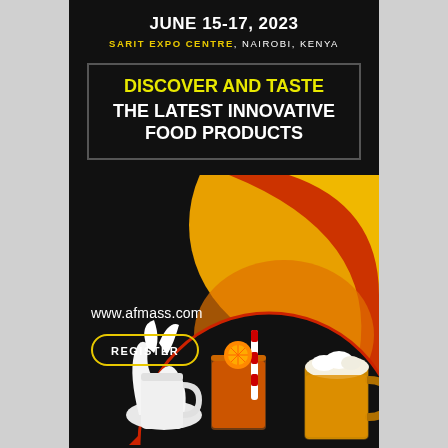JUNE 15-17, 2023
SARIT EXPO CENTRE, NAIROBI, KENYA
DISCOVER AND TASTE THE LATEST INNOVATIVE FOOD PRODUCTS
www.afmass.com
REGISTER
[Figure (illustration): Decorative orange and red swoosh/swirl shapes on black background with drinks/food products at bottom including milk, fruit juice and beer]